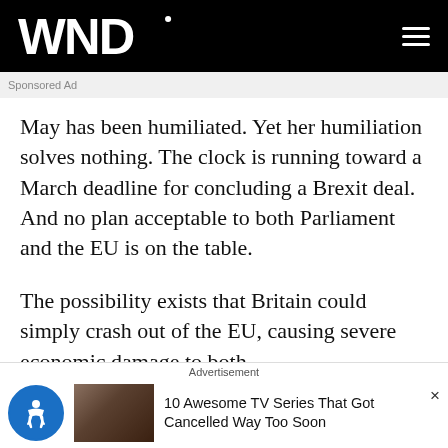WND
Sponsored Ad
May has been humiliated. Yet her humiliation solves nothing. The clock is running toward a March deadline for concluding a Brexit deal. And no plan acceptable to both Parliament and the EU is on the table.
The possibility exists that Britain could simply crash out of the EU, causing severe economic damage to both.
Realizing this, Brussels has left the door open if Britain should vote in a second referendum to remain in the EU
Advertisement
10 Awesome TV Series That Got Cancelled Way Too Soon